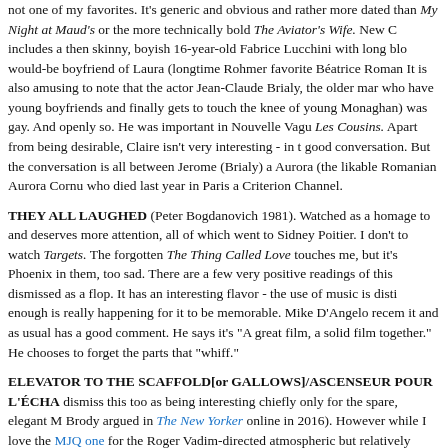not one of my favorites. It's generic and obvious and rather more dated than My Night at Maud's or the more technically bold The Aviator's Wife. New C includes a then skinny, boyish 16-year-old Fabrice Lucchini with long blo would-be boyfriend of Laura (longtime Rohmer favorite Béatrice Roman It is also amusing to note that the actor Jean-Claude Brialy, the older mar who have young boyfriends and finally gets to touch the knee of young Monaghan) was gay. And openly so. He was important in Nouvelle Vagu Les Cousins. Apart from being desirable, Claire isn't very interesting - in t good conversation. But the conversation is all between Jerome (Brialy) a Aurora (the likable Romanian Aurora Cornu who died last year in Paris a Criterion Channel.
THEY ALL LAUGHED (Peter Bogdanovich 1981). Watched as a homage to and deserves more attention, all of which went to Sidney Poitier. I don't to watch Targets. The forgotten The Thing Called Love touches me, but it's Phoenix in them, too sad. There are a few very positive readings of this dismissed as a flop. It has an interesting flavor - the use of music is disti enough is really happening for it to be memorable. Mike D'Angelo recem it and as usual has a good comment. He says it's "A great film, a solid film together." He chooses to forget the parts that "whiff."
ELEVATOR TO THE SCAFFOLD[or GALLOWS]/ASCENSEUR POUR L'ÉCHA dismiss this too as being interesting chiefly only for the spare, elegant M Brody argued in The New Yorker online in 2016). However while I love the MJQ one for the Roger Vadim-directed atmospheric but relatively vapid 1 jamais..., this reads like a classic to me in its every shot. I like seeing Geo René Clément's heartbreaking Forbidden Games, grown up into a juveni attitude and floppy black hair foreshadowing Godard's use of Belmond Mo...